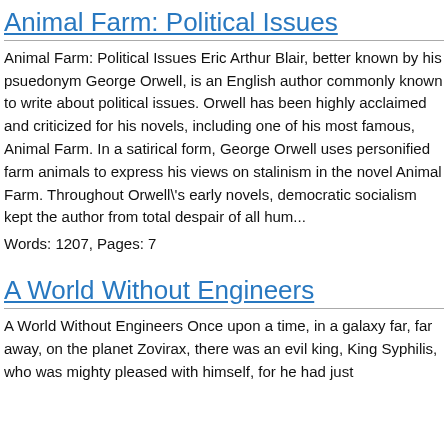Animal Farm: Political Issues
Animal Farm: Political Issues Eric Arthur Blair, better known by his psuedonym George Orwell, is an English author commonly known to write about political issues. Orwell has been highly acclaimed and criticized for his novels, including one of his most famous, Animal Farm. In a satirical form, George Orwell uses personified farm animals to express his views on stalinism in the novel Animal Farm. Throughout Orwell\'s early novels, democratic socialism kept the author from total despair of all hum...
Words: 1207, Pages: 7
A World Without Engineers
A World Without Engineers Once upon a time, in a galaxy far, far away, on the planet Zovirax, there was an evil king, King Syphilis, who was mighty pleased with himself, for he had just